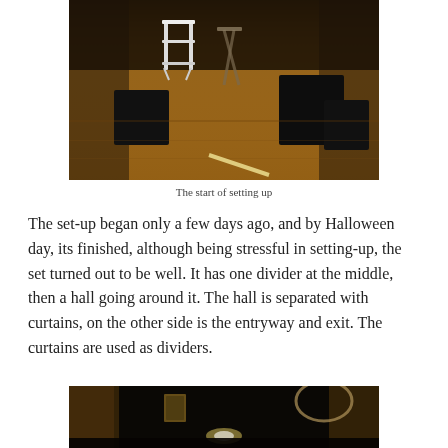[Figure (photo): A room being set up with a white folding chair, black cube-shaped furniture pieces, and a piece of tape on a wooden floor marking a boundary or line. The room has dark walls and warm lighting.]
The start of setting up
The set-up began only a few days ago, and by Halloween day, its finished, although being stressful in setting-up, the set turned out to be well. It has one divider at the middle, then a hall going around it. The hall is separated with curtains, on the other side is the entryway and exit. The curtains are used as dividers.
[Figure (photo): A dark hallway or room decorated for a haunted house, showing a dimly lit passage with dark walls, furry or hairy texture on the sides, and a glowing light at the end.]